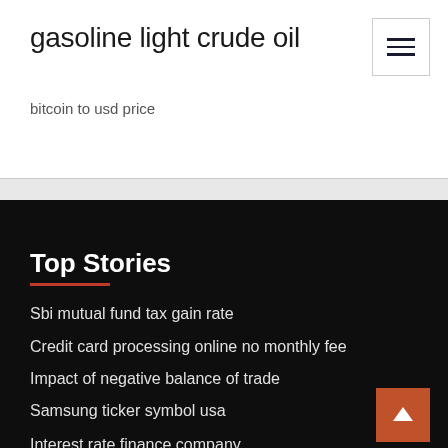gasoline light crude oil
[Figure (other): Hamburger menu button with three horizontal lines]
bitcoin to usd price
Top Stories
Sbi mutual fund tax gain rate
Credit card processing online no monthly fee
Impact of negative balance of trade
Samsung ticker symbol usa
Interest rate finance company